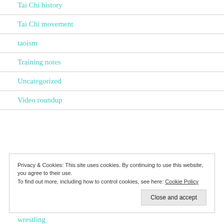Tai Chi history
Tai Chi movement
taoism
Training notes
Uncategorized
Video roundup
Privacy & Cookies: This site uses cookies. By continuing to use this website, you agree to their use.
To find out more, including how to control cookies, see here: Cookie Policy
Close and accept
wrestling